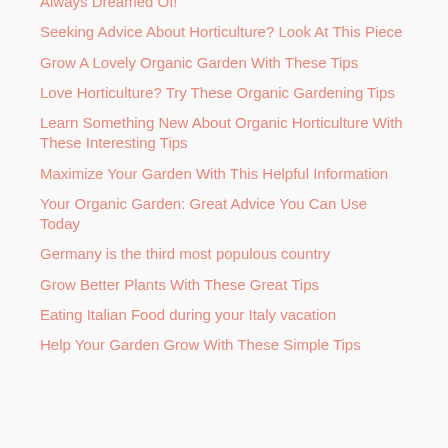Always Dreamed Of!
Seeking Advice About Horticulture? Look At This Piece
Grow A Lovely Organic Garden With These Tips
Love Horticulture? Try These Organic Gardening Tips
Learn Something New About Organic Horticulture With These Interesting Tips
Maximize Your Garden With This Helpful Information
Your Organic Garden: Great Advice You Can Use Today
Germany is the third most populous country
Grow Better Plants With These Great Tips
Eating Italian Food during your Italy vacation
Help Your Garden Grow With These Simple Tips